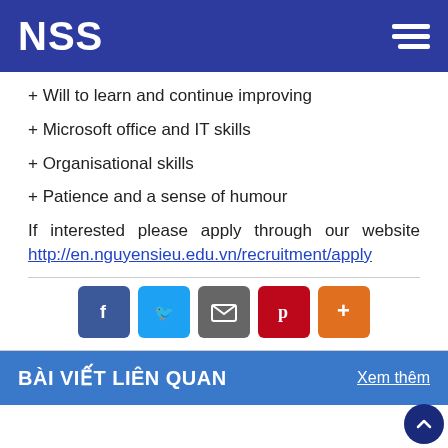NSS
+ Will to learn and continue improving
+ Microsoft office and IT skills
+ Organisational skills
+ Patience and a sense of humour
If interested please apply through our website http://en.nguyensieu.edu.vn/recruitment/apply
[Figure (other): Social share buttons: Facebook, Twitter, Email, Pinterest, Plus]
BÀI VIẾT LIÊN QUAN
Xem thêm